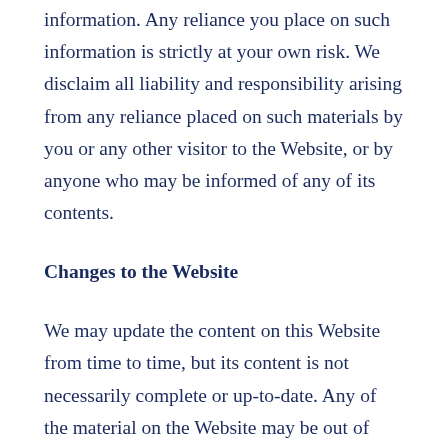information. Any reliance you place on such information is strictly at your own risk. We disclaim all liability and responsibility arising from any reliance placed on such materials by you or any other visitor to the Website, or by anyone who may be informed of any of its contents.
Changes to the Website
We may update the content on this Website from time to time, but its content is not necessarily complete or up-to-date. Any of the material on the Website may be out of date at